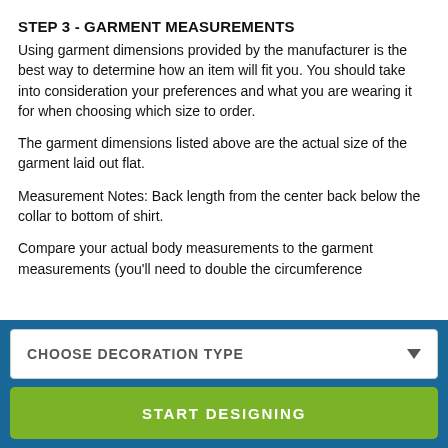STEP 3 - GARMENT MEASUREMENTS
Using garment dimensions provided by the manufacturer is the best way to determine how an item will fit you. You should take into consideration your preferences and what you are wearing it for when choosing which size to order.
The garment dimensions listed above are the actual size of the garment laid out flat.
Measurement Notes: Back length from the center back below the collar to bottom of shirt.
Compare your actual body measurements to the garment measurements (you'll need to double the circumference
CHOOSE DECORATION TYPE
START DESIGNING